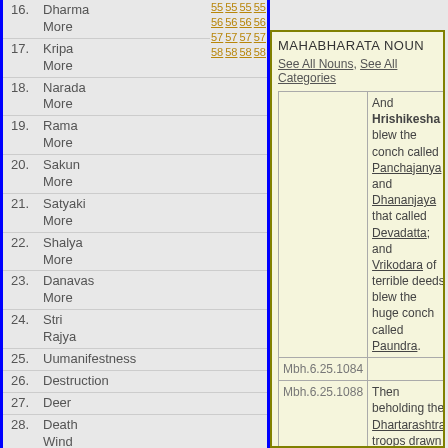16. Dharma More
17. Kripa More
18. Narada More
19. Rama More
20. Sakun More
21. Satyaki More
22. Shalya More
23. Danavas More
24. Stri Rajya
25. Uumanifestness
26. Destruction
27. Deer
28. Death Wind
29. Deathlassness
30. Cleansed
MAHABHARATA NOUN
See All Nouns, See All Categories
| Reference | Text |
| --- | --- |
| Mbh.6.25.1084 | And Hrishikesha blew the conch called Panchajanya and Dhananjaya that called Devadatta; and Vrikodara of terrible deeds blew the huge conch called Paundra. |
| Mbh.6.25.1088 | Then beholding the Dhartarashtra troops drawn up, the ape-bannered son of Pandu, rising his bow, when, the throwing of |